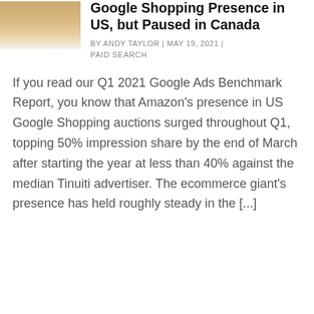[Figure (photo): Thumbnail image of Amazon product with Amazon logo/box, partially visible at top left]
Google Shopping Presence in US, but Paused in Canada
BY ANDY TAYLOR | MAY 19, 2021 |
PAID SEARCH
If you read our Q1 2021 Google Ads Benchmark Report, you know that Amazon's presence in US Google Shopping auctions surged throughout Q1, topping 50% impression share by the end of March after starting the year at less than 40% against the median Tinuiti advertiser. The ecommerce giant's presence has held roughly steady in the [...]